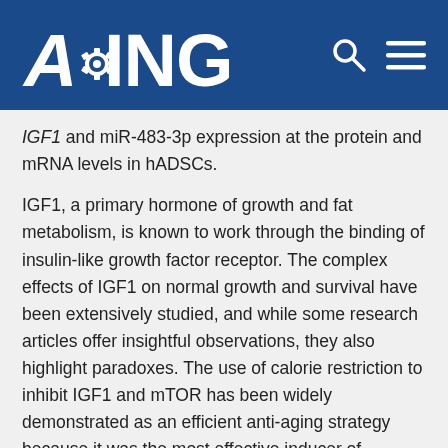AGING
IGF1 and miR-483-3p expression at the protein and mRNA levels in hADSCs.
IGF1, a primary hormone of growth and fat metabolism, is known to work through the binding of insulin-like growth factor receptor. The complex effects of IGF1 on normal growth and survival have been extensively studied, and while some research articles offer insightful observations, they also highlight paradoxes. The use of calorie restriction to inhibit IGF1 and mTOR has been widely demonstrated as an efficient anti-aging strategy because it was the most effective inducer of autophagy [29, 30]. However, an inactive form of IGF1 results in severe growth retardation and proliferative defects in mice [31, 32]. IGF1 is considered to be the most potent growth factor for the prevention of apoptosis in eukaryotic cells [33]. Several